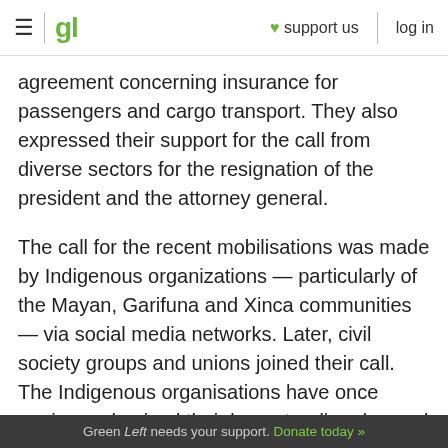≡ | gl ♥ support us log in
agreement concerning insurance for passengers and cargo transport. They also expressed their support for the call from diverse sectors for the resignation of the president and the attorney general.
The call for the recent mobilisations was made by Indigenous organizations — particularly of the Mayan, Garifuna and Xinca communities — via social media networks. Later, civil society groups and unions joined their call. The Indigenous organisations have once again emphasised their long-standing demand for the establishment of a plurinational state.
Green Left needs your support. Donate today »